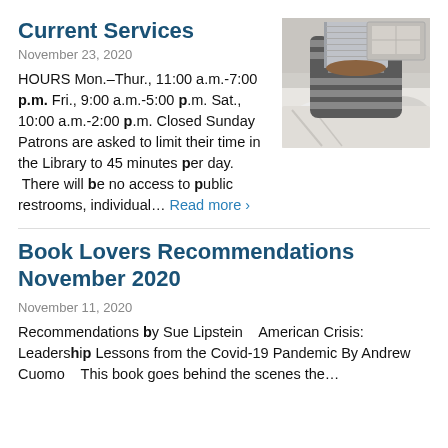Current Services
November 23, 2020
HOURS Mon.–Thur., 11:00 a.m.-7:00 p.m. Fri., 9:00 a.m.-5:00 p.m. Sat., 10:00 a.m.-2:00 p.m. Closed Sunday   Patrons are asked to limit their time in the Library to 45 minutes per day.  There will be no access to public restrooms, individual… Read more ›
[Figure (photo): Person lying in bed reading a book, covered in white blankets, wearing a striped sweater, holding the book up over their face.]
Book Lovers Recommendations November 2020
November 11, 2020
Recommendations by Sue Lipstein   American Crisis: Leadership Lessons from the Covid-19 Pandemic By Andrew Cuomo   This book goes behind the scenes the…